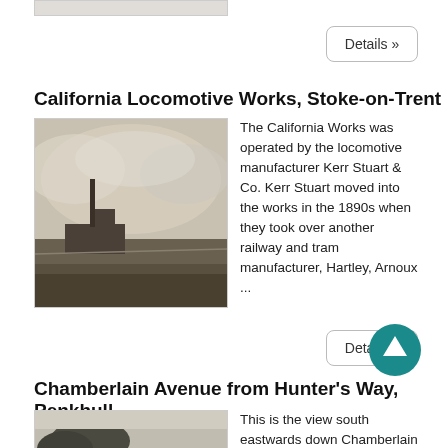[Figure (photo): Top portion of a photograph (partially visible), cut off at top of page]
Details »
California Locomotive Works, Stoke-on-Trent
[Figure (photo): Black and white photograph of the California Locomotive Works, showing a wide landscape with industrial buildings and a chimney stack against a cloudy sky]
The California Works was operated by the locomotive manufacturer Kerr Stuart & Co. Kerr Stuart moved into the works in the 1890s when they took over another railway and tram manufacturer, Hartley, Arnoux ...
Details »
Chamberlain Avenue from Hunter's Way, Penkhull
[Figure (photo): Black and white photograph of Chamberlain Avenue looking south eastwards, with trees on the left and a building visible]
This is the view south eastwards down Chamberlain Avenue from the corner of Hunter's Way. At the bottom of the step bank is London